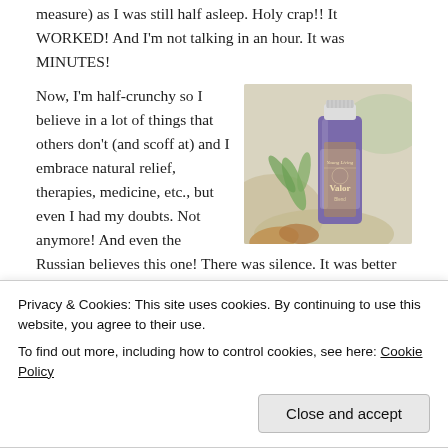measure) as I was still half asleep. Holy crap!! It WORKED! And I'm not talking in an hour. It was MINUTES!
Now, I'm half-crunchy so I believe in a lot of things that others don't (and scoff at) and I embrace natural relief, therapies, medicine, etc., but even I had my doubts. Not anymore! And even the Russian believes this one! There was silence. It was better than silence. It was seriously the first time that I have ever heard him have peaceful sleep in more than ten years. I was so excited about
[Figure (photo): A small purple bottle of Young Living 'Valor' essential oil blend, with a white cap, set against a soft-focus background with green herbs and wooden elements.]
magic in a bottle. Yall. The Russian has used it every night since. Select these uses cookies.
Privacy & Cookies: This site uses cookies. By continuing to use this website, you agree to their use.
To find out more, including how to control cookies, see here: Cookie Policy